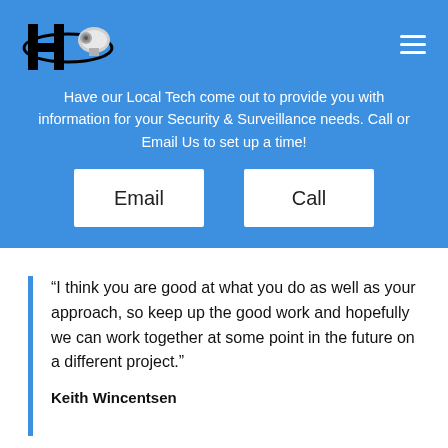[Figure (logo): Company logo with H letter and security camera satellite graphic]
Have our Local Tech come out to provide you with information for your Security & Surveillance needs. Call or Email Us to set up a time!
Email
Call
“I think you are good at what you do as well as your approach, so keep up the good work and hopefully we can work together at some point in the future on a different project.”
Keith Wincentsen